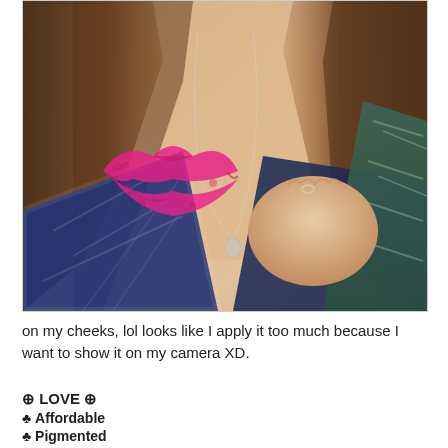[Figure (photo): Close-up photo of a young woman wearing a patterned dark blue top with a deep V-neckline, holding her neckline with one hand. She has brown hair and wears a necklace. A pink lipstick kiss mark graphic overlay is visible on the left side of the image.]
on my cheeks, lol looks like I apply it too much because I want to show it on my camera XD.
⊕ LOVE ⊕
♣ Affordable
♣ Pigmented